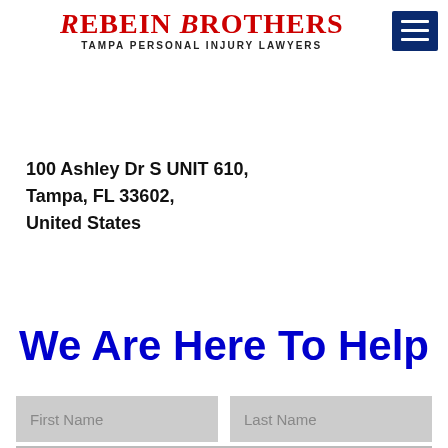Rebein Brothers — Tampa Personal Injury Lawyers
100 Ashley Dr S UNIT 610,
Tampa, FL 33602,
United States
We Are Here To Help
First Name
Last Name